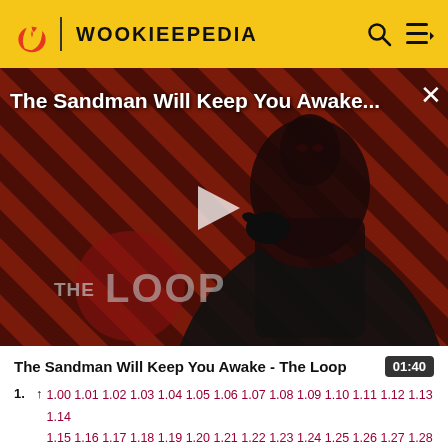WOOKIEEPEDIA
[Figure (screenshot): Video thumbnail for 'The Sandman Will Keep You Awake...' showing a dark figure in a black cape against a red diagonal striped background with 'THE LOOP' watermark and a play button in the center]
The Sandman Will Keep You Awake - The Loop  01:40
1. ↑ 1.00 1.01 1.02 1.03 1.04 1.05 1.06 1.07 1.08 1.09 1.10 1.11 1.12 1.13 1.14 1.15 1.16 1.17 1.18 1.19 1.20 1.21 1.22 1.23 1.24 1.25 1.26 1.27 1.28 1.29 1.30 1.31 1.32 1.33 1.34 1.35 1.36 Victory's Price